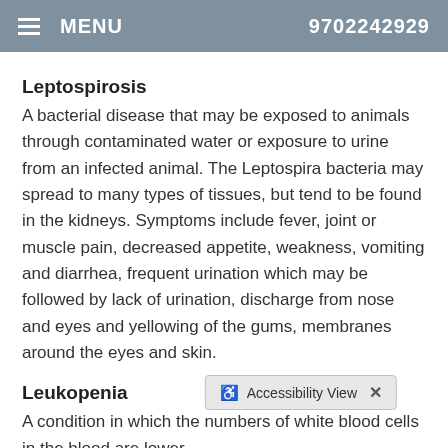MENU  9702242929
Leptospirosis
A bacterial disease that may be exposed to animals through contaminated water or exposure to urine from an infected animal. The Leptospira bacteria may spread to many types of tissues, but tend to be found in the kidneys. Symptoms include fever, joint or muscle pain, decreased appetite, weakness, vomiting and diarrhea, frequent urination which may be followed by lack of urination, discharge from nose and eyes and yellowing of the gums, membranes around the eyes and skin.
Leukopenia
A condition in which the numbers of white blood cells in the blood are lower